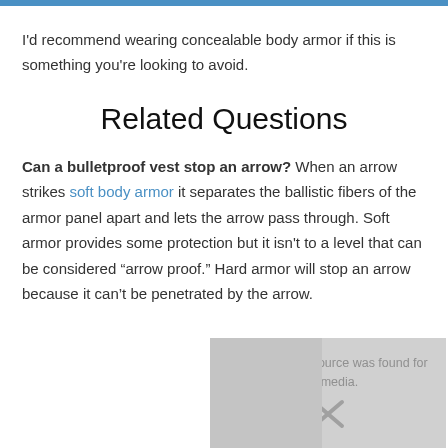I'd recommend wearing concealable body armor if this is something you're looking to avoid.
Related Questions
Can a bulletproof vest stop an arrow? When an arrow strikes soft body armor it separates the ballistic fibers of the armor panel apart and lets the arrow pass through. Soft armor provides some protection but it isn't to a level that can be considered “arrow proof.” Hard armor will stop an arrow because it can’t be penetrated by the arrow.
[Figure (other): Media player placeholder showing 'No compatible source was found for this media.' with an X icon]